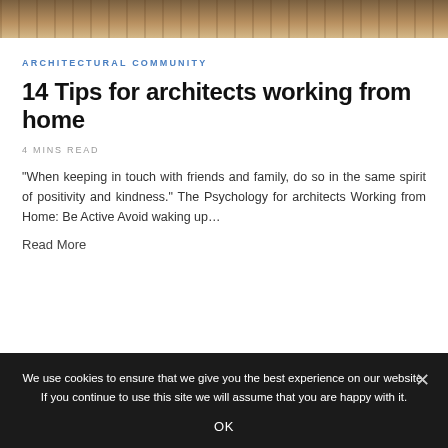[Figure (photo): Top strip of a photo showing bookshelves with colorful books, cropped at the top of the page]
ARCHITECTURAL COMMUNITY
14 Tips for architects working from home
4 MINS READ
“When keeping in touch with friends and family, do so in the same spirit of positivity and kindness.” The Psychology for architects Working from Home: Be Active Avoid waking up…
Read More
We use cookies to ensure that we give you the best experience on our website. If you continue to use this site we will assume that you are happy with it.
OK